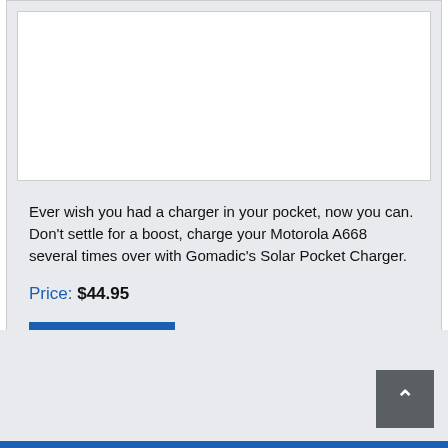[Figure (photo): White product image placeholder area]
Ever wish you had a charger in your pocket, now you can. Don't settle for a boost, charge your Motorola A668 several times over with Gomadic's Solar Pocket Charger.
Price: $44.95
Buy Now
[Figure (other): Back to top arrow button in dark gray square, bottom right of footer]